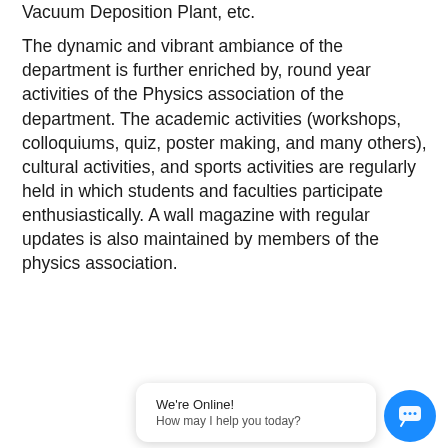Vacuum Deposition Plant, etc.
The dynamic and vibrant ambiance of the department is further enriched by, round year activities of the Physics association of the department. The academic activities (workshops, colloquiums, quiz, poster making, and many others), cultural activities, and sports activities are regularly held in which students and faculties participate enthusiastically. A wall magazine with regular updates is also maintained by members of the physics association.
[Figure (other): Live chat widget with 'We're Online!' message and blue chat icon button]